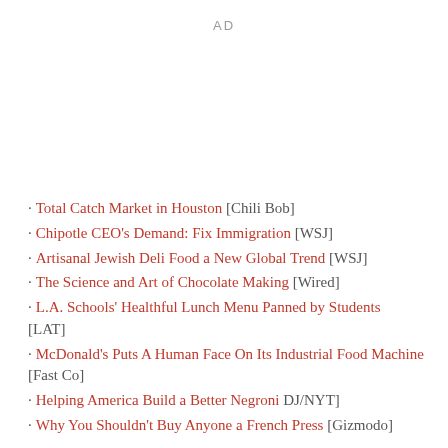AD
Total Catch Market in Houston [Chili Bob]
Chipotle CEO's Demand: Fix Immigration [WSJ]
Artisanal Jewish Deli Food a New Global Trend [WSJ]
The Science and Art of Chocolate Making [Wired]
L.A. Schools' Healthful Lunch Menu Panned by Students [LAT]
McDonald's Puts A Human Face On Its Industrial Food Machine [Fast Co]
Helping America Build a Better Negroni DJ/NYT]
Why You Shouldn't Buy Anyone a French Press [Gizmodo]